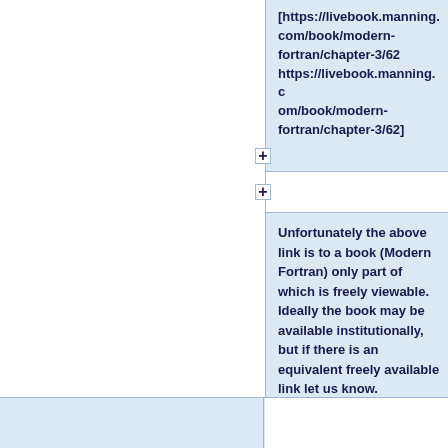[https://livebook.manning.com/book/modern-fortran/chapter-3/62 https://livebook.manning.com/book/modern-fortran/chapter-3/62]
Unfortunately the above link is to a book (Modern Fortran) only part of which is freely viewable. Ideally the book may be available institutionally, but if there is an equivalent freely available link let us know.
&nbsp;